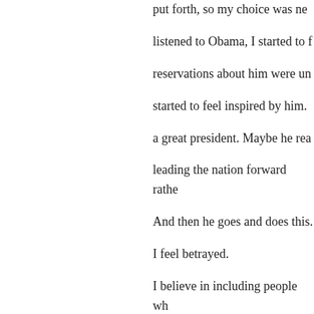put forth, so my choice was ne listened to Obama, I started to f reservations about him were un started to feel inspired by him. a great president. Maybe he rea leading the nation forward rathe And then he goes and does this. I feel betrayed. I believe in including people wh from mine, even if their beliefs they use those ridiculous beliefs conduct their lives. But when th ridiculous, irrational, religious b as principles on which to base p explicitly defined as secular by can't tolerate that.